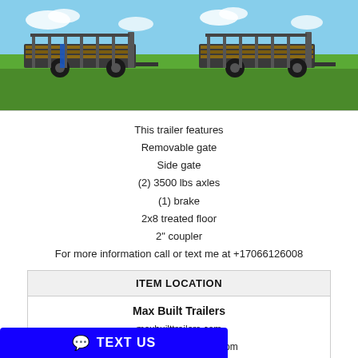[Figure (photo): Two photos of a flatbed trailer with removable gate, parked on grass with blue sky background. Left photo shows a side/rear angle, right photo shows a similar angle.]
This trailer features
Removable gate
Side gate
(2) 3500 lbs axles
(1) brake
2x8 treated floor
2" coupler
For more information call or text me at +17066126008
| ITEM LOCATION |
| --- |
| Max Built Trailers | maxbuilttrailers.com | maxbuilttrailers@gmail.com | 1631 Leonard Bridge RD | 30705 | 2233 |